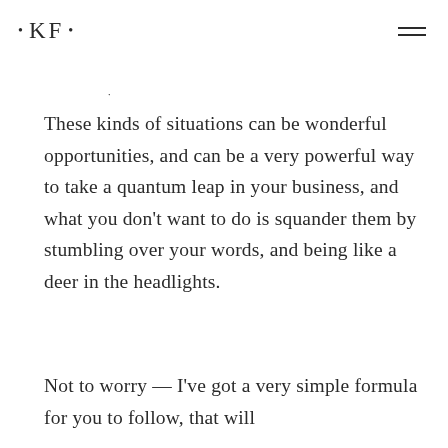• KF •
These kinds of situations can be wonderful opportunities, and can be a very powerful way to take a quantum leap in your business, and what you don't want to do is squander them by stumbling over your words, and being like a deer in the headlights.
Not to worry — I've got a very simple formula for you to follow, that will have you poised and polished the